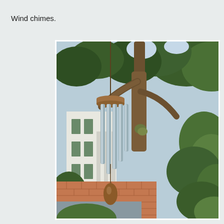Wind chimes.
[Figure (photo): A wind chime with silver metal tubes and wooden top cap and clapper, hanging outdoors in front of a white building facade, surrounded by green trees and a brick paved ground.]